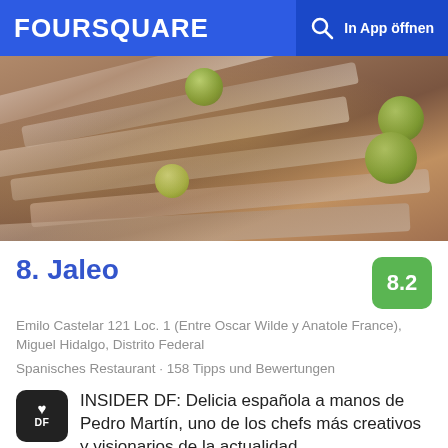FOURSQUARE  In App öffnen
[Figure (photo): Close-up photo of anchovies/boquerones with green olives on a plate]
8. Jaleo
Emilo Castelar 121 Loc. 1 (Entre Oscar Wilde y Anatole France), Miguel Hidalgo, Distrito Federal
Spanisches Restaurant · 158 Tipps und Bewertungen
INSIDER DF: Delicia española a manos de Pedro Martín, uno de los chefs más creativos y visionarios de la actualidad.